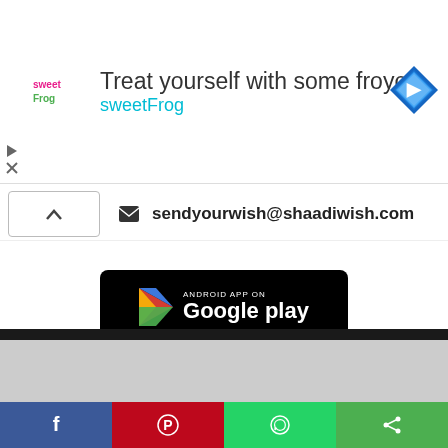[Figure (screenshot): Ad banner for sweetFrog frozen yogurt: logo on left, text 'Treat yourself with some froyo' and 'sweetFrog', navigation icon on right]
sendyourwish@shaadiwish.com
[Figure (screenshot): Google Play store download badge - black rounded rectangle with play icon and text 'ANDROID APP ON Google play']
[Figure (screenshot): Apple App Store download badge - black rounded rectangle with Apple logo and text 'Download on the App Store']
[Figure (infographic): Social sharing bar at bottom: Facebook (blue), Pinterest (red), WhatsApp (green), Share (green) buttons with icons]